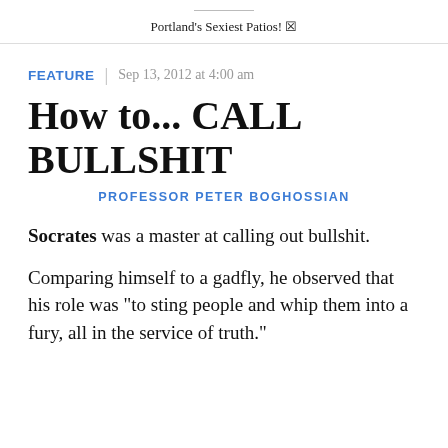Portland's Sexiest Patios! ☒
FEATURE | Sep 13, 2012 at 4:00 am
How to... CALL BULLSHIT
PROFESSOR PETER BOGHOSSIAN
Socrates was a master at calling out bullshit.
Comparing himself to a gadfly, he observed that his role was "to sting people and whip them into a fury, all in the service of truth."